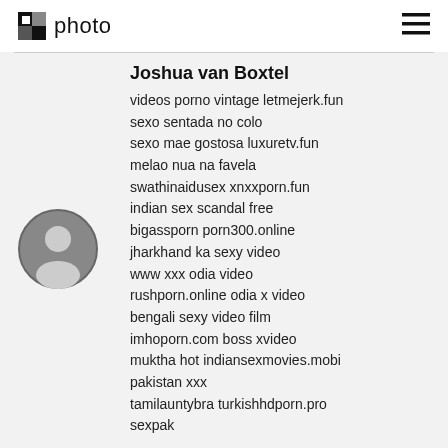photo
Joshua van Boxtel
videos porno vintage letmejerk.fun
sexo sentada no colo
sexo mae gostosa luxuretv.fun
melao nua na favela
swathinaidusex xnxxporn.fun
indian sex scandal free
bigassporn porn300.online
jharkhand ka sexy video
www xxx odia video
rushporn.online odia x video
bengali sexy video film
imhoporn.com boss xvideo
muktha hot indiansexmovies.mobi
pakistan xxx
tamilauntybra turkishhdporn.pro
sexpak
[Figure (illustration): Generic user avatar circle icon]